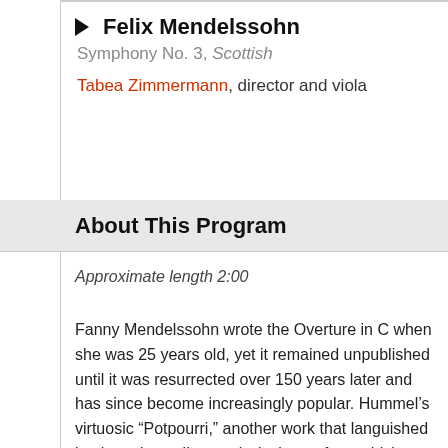Felix Mendelssohn
Symphony No. 3, Scottish
Tabea Zimmermann, director and viola
About This Program
Approximate length 2:00
Fanny Mendelssohn wrote the Overture in C when she was 25 years old, yet it remained unpublished until it was resurrected over 150 years later and has since become increasingly popular. Hummel’s virtuosic “Potpourri,” another work that languished in obscurity until recently, is the perfect vehicle to showcase the talents of the SPCO’s newest Artistic Partner, Tabea Zimmermann. Rounding out the program is music from